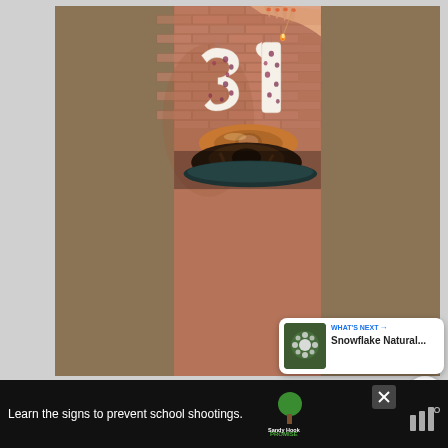[Figure (photo): A hand with orange nail polish lighting a match to candles shaped like the numbers '31' made of white wax with embedded red/purple berries. The candles sit on a stack of donuts on a dark plate, against a brick wall background.]
[Figure (thumbnail): What's Next thumbnail showing snowflake natural content]
WHAT'S NEXT → Snowflake Natural...
Learn the signs to prevent school shootings.
[Figure (logo): Sandy Hook Promise logo with tree icon]